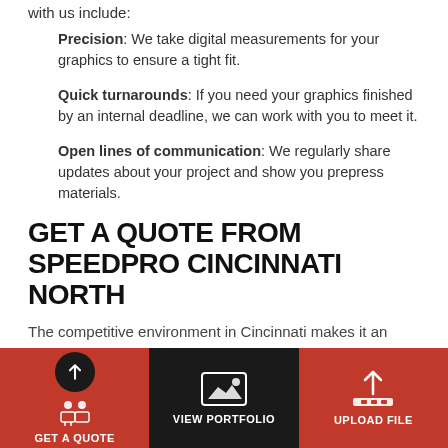with us include:
Precision: We take digital measurements for your graphics to ensure a tight fit.
Quick turnarounds: If you need your graphics finished by an internal deadline, we can work with you to meet it.
Open lines of communication: We regularly share updates about your project and show you prepress materials.
GET A QUOTE FROM SPEEDPRO CINCINNATI NORTH
The competitive environment in Cincinnati makes it an exciting time to do business. If your company is located
GET A QUOTE   VIEW PORTFOLIO   UPLOAD FILE